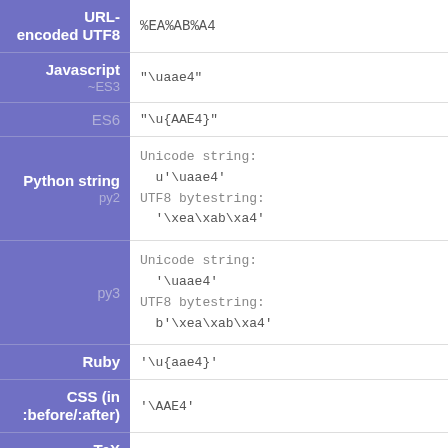| Label | Value |
| --- | --- |
| URL-encoded UTF8 | %EA%AB%A4 |
| Javascript ~ES3 | "\uaae4" |
| ES6 | "\u{AAE4}" |
| Python string py2 | Unicode string:
  u'\uaae4'
UTF8 bytestring:
  '\xea\xab\xa4' |
| py3 | Unicode string:
  '\uaae4'
UTF8 bytestring:
  b'\xea\xab\xa4' |
| Ruby | '\u{aae4}' |
| CSS (in :before/:after) | '\AAE4' |
| TeX (experiment) | nothing interesting to report here |
Emoji (experiment; TODO)
| Details |  |
| --- | --- |